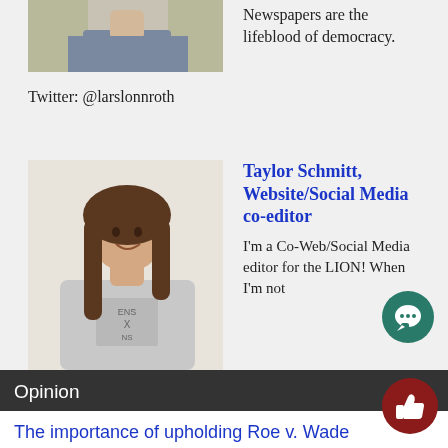[Figure (photo): Partial photo of a person in a grey shirt against a beige background, cropped at the top]
Newspapers are the lifeblood of democracy.
Twitter: @larslonnroth
[Figure (photo): Photo of a young woman with long brown hair wearing a grey t-shirt, smiling, against a cream background]
Taylor Schmitt, Website/Social Media co-editor
I'm a Co-Web/Social Media editor for the LION! When I'm not posting on the website, you can usually find me in the Reber Center acting or searching...
Opinion
The importance of upholding Roe v. Wade